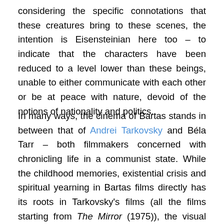considering the specific connotations that these creatures bring to these scenes, the intention is Eisensteinian here too – to indicate that the characters have been reduced to a level lower than these beings, unable to either communicate with each other or be at peace with nature, devoid of the notions of nationality and politics.
In many ways, the cinema of Bartas stands in between that of Andrei Tarkovsky and Béla Tarr – both filmmakers concerned with chronicling life in a communist state. While the childhood memories, existential crisis and spiritual yearning in Bartas films directly has its roots in Tarkovsky's films (all the films starting from The Mirror (1975)), the visual (dancing in entrapping circles, meaningless glances and chatter over banquets and eventual self-destruction of the drifting characters) and aural (the Mihály Vig-like loopy melanchony, associations of recurring accompa…